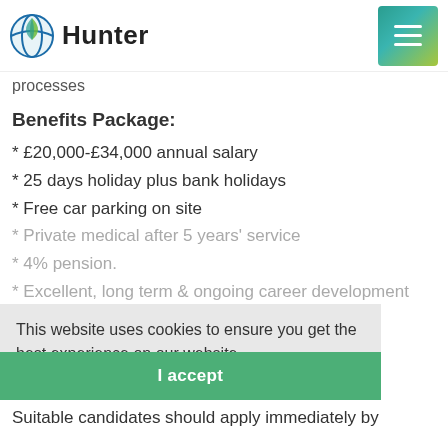Hunter
processes
Benefits Package:
* £20,000-£34,000 annual salary
* 25 days holiday plus bank holidays
* Free car parking on site
* Private medical after 5 years' service
* 4% pension.
* Excellent, long term & ongoing career development
This website uses cookies to ensure you get the best experience on our website.
Privacy Policy
I accept
Suitable candidates should apply immediately by